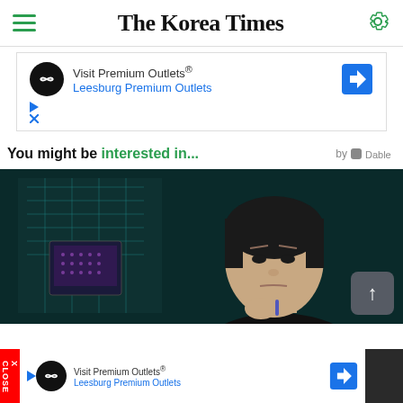The Korea Times
[Figure (screenshot): Advertisement banner for Premium Outlets - Visit Premium Outlets® Leesburg Premium Outlets]
You might be interested in...
[Figure (photo): Dark teal-toned photo of an Asian woman with short hair gesturing with her hand, with electronic equipment in the background]
[Figure (screenshot): Bottom advertisement bar for Visit Premium Outlets® Leesburg Premium Outlets with close button]